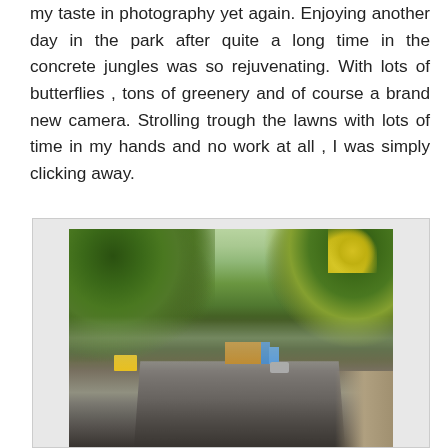my taste in photography yet again. Enjoying another day in the park after quite a long time in the concrete jungles was so rejuvenating. With lots of butterflies , tons of greenery and of course a brand new camera. Strolling trough the lawns with lots of time in my hands and no work at all , I was simply clicking away.
[Figure (photo): A tree-lined road with lush green canopy overhead, a blue truck and a car visible on the road, yellow flowering trees on the right, and a sidewalk on the right side. Misty atmospheric perspective visible in the background.]